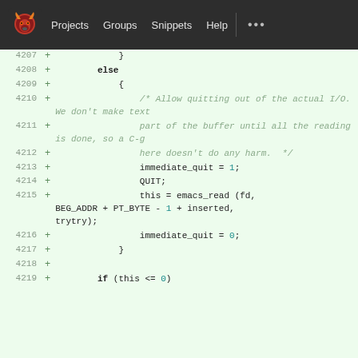GitLab navigation: Projects  Groups  Snippets  Help
Code diff view showing lines 4207-4219 with additions (+):
4207: }
4208: else
4209: {
4210: /* Allow quitting out of the actual I/O. We don't make text
4211: part of the buffer until all the reading is done, so a C-g
4212: here doesn't do any harm. */
4213: immediate_quit = 1;
4214: QUIT;
4215: this = emacs_read (fd, BEG_ADDR + PT_BYTE - 1 + inserted, trytry);
4216: immediate_quit = 0;
4217: }
4218: (blank)
4219: if (this <= 0)